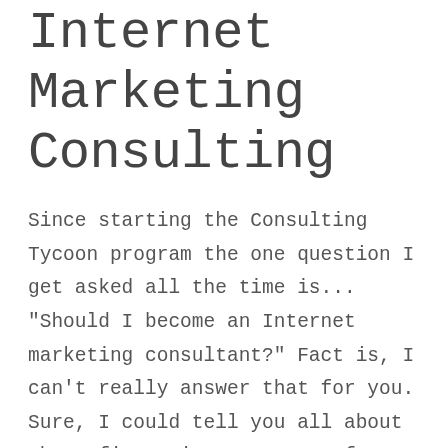Internet Marketing Consulting
Since starting the Consulting Tycoon program the one question I get asked all the time is... "Should I become an Internet marketing consultant?" Fact is, I can't really answer that for you. Sure, I could tell you all about the 6-figure incomes many of our members are making -- or whet your